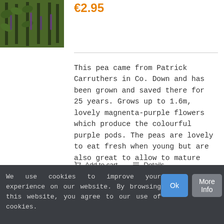[Figure (photo): Photo of purple pea plants growing in a garden]
€2.95
This pea came from Patrick Carruthers in Co. Down and has been grown and saved there for 25 years. Grows up to 1.6m, lovely magnenta-purple flowers which produce the colourful purple pods. The peas are lovely to eat fresh when young but are also great to allow to mature and dry for a winter storage pea. Certified Organic
Add to cart   Details
We use cookies to improve your experience on our website. By browsing this website, you agree to our use of cookies.